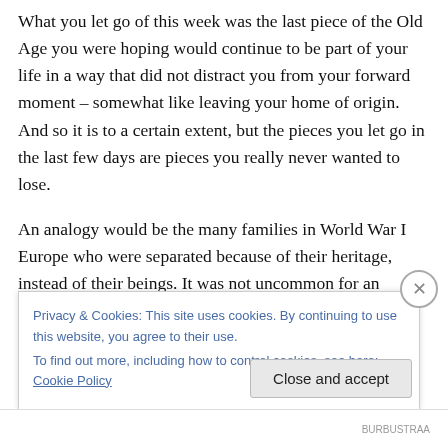What you let go of this week was the last piece of the Old Age you were hoping would continue to be part of your life in a way that did not distract you from your forward moment – somewhat like leaving your home of origin. And so it is to a certain extent, but the pieces you let go in the last few days are pieces you really never wanted to lose.
An analogy would be the many families in World War I Europe who were separated because of their heritage, instead of their beings. It was not uncommon for an English family with German relatives to negate the
Privacy & Cookies: This site uses cookies. By continuing to use this website, you agree to their use.
To find out more, including how to control cookies, see here: Cookie Policy
Close and accept